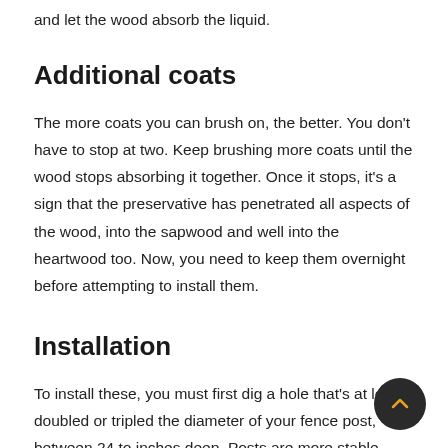and let the wood absorb the liquid.
Additional coats
The more coats you can brush on, the better. You don't have to stop at two. Keep brushing more coats until the wood stops absorbing it together. Once it stops, it's a sign that the preservative has penetrated all aspects of the wood, into the sapwood and well into the heartwood too. Now, you need to keep them overnight before attempting to install them.
Installation
To install these, you must first dig a hole that's at least doubled or tripled the diameter of your fence post, between 24 to inches deep. Posts are more stable when you bury up to one-